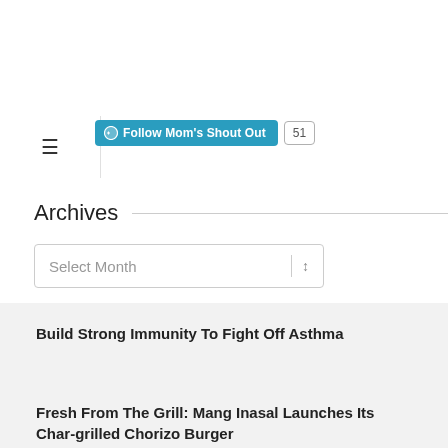Follow Mom's Shout Out | 51
Archives
Select Month
Build Strong Immunity To Fight Off Asthma
Fresh From The Grill: Mang Inasal Launches Its Char-grilled Chorizo Burger